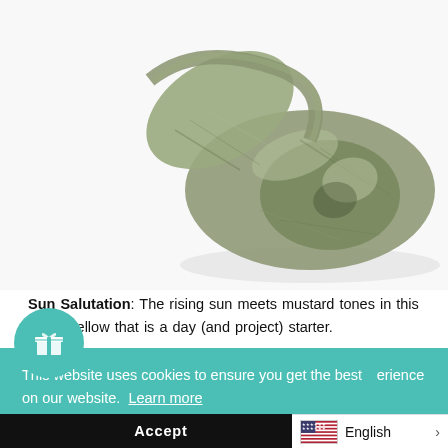[Figure (photo): A skein of sage green/olive colored yarn twisted and knotted, photographed on a white background, with soft shadow. Top portion visible, centered-right on the page.]
Sun Salutation: The rising sun meets mustard tones in this bright yellow that is a day (and project) starter.
[Figure (photo): Close-up of bright yellow yarn strands, filling the lower portion of the page.]
This website uses cookies to ensure you get the best experience on our website. Learn more
Accept
English >